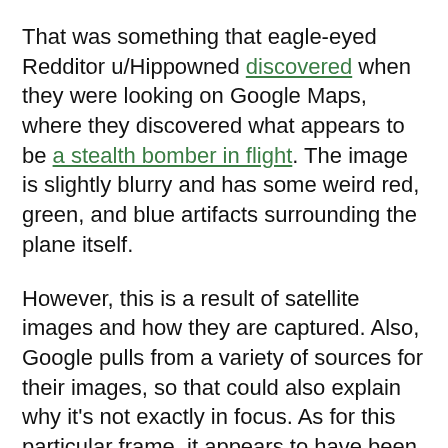That was something that eagle-eyed Redditor u/Hippowned discovered when they were looking on Google Maps, where they discovered what appears to be a stealth bomber in flight. The image is slightly blurry and has some weird red, green, and blue artifacts surrounding the plane itself.
However, this is a result of satellite images and how they are captured. Also, Google pulls from a variety of sources for their images, so that could also explain why it's not exactly in focus. As for this particular frame, it appears to have been taken by a satellite of Maxar Technologies. While planes have been spotted on Google Maps before, this is actually the first time a stealth plane was spotted mid-flight.